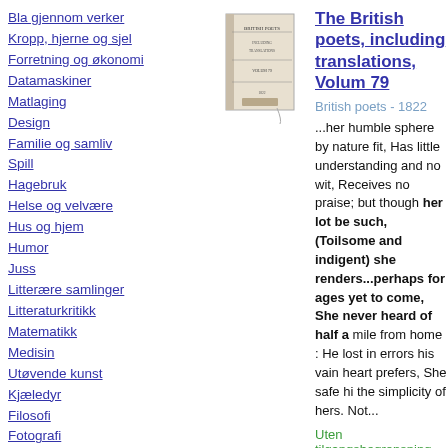Bla gjennom verker
Kropp, hjerne og sjel
Forretning og økonomi
Datamaskiner
Matlaging
Design
Familie og samliv
Spill
Hagebruk
Helse og velvære
Hus og hjem
Humor
Juss
Litterære samlinger
Litteraturkritikk
Matematikk
Medisin
Utøvende kunst
Kjæledyr
Filosofi
Fotografi
[Figure (illustration): Small book cover image for The British poets, including translations, Volum 79]
The British poets, including translations, Volum 79
British poets - 1822
...her humble sphere by nature fit, Has little understanding and no wit, Receives no praise; but though her lot be such, (Toilsome and indigent) she renders...perhaps for ages yet to come, She never heard of half a mile from home : He lost in errors his vain heart prefers, She safe hi the simplicity of hers. Not...
Uten tilgangsbegrensning
- Om denne boken